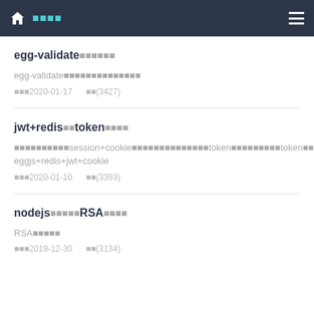首页 / 归档
egg-validate参数校验使用
egg-validate参数校验的基本使用方法
发布时间：2020-01-17    阅读(3427)
jwt+redis实现token鉴权登录
本文介绍使用session+cookie方式存储登录状态以及token方式存储token的方式，eggjs+redis+jwt+cookie
发布时间：2020-01-10    阅读(3393)
nodejs使用实现RSA非对称加密
RSA非对称加密
发布时间：2019-12-30    阅读(3134)